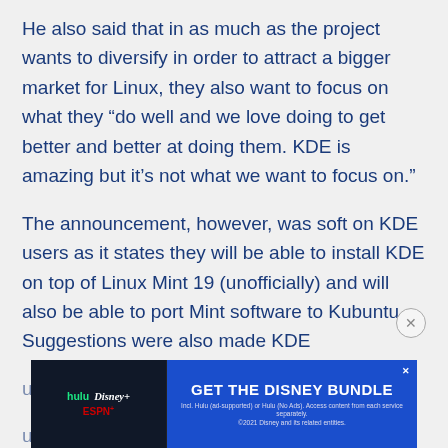He also said that in as much as the project wants to diversify in order to attract a bigger market for Linux, they also want to focus on what they “do well and we love doing to get better and better at doing them. KDE is amazing but it’s not what we want to focus on.”
The announcement, however, was soft on KDE users as it states they will be able to install KDE on top of Linux Mint 19 (unofficially) and will also be able to port Mint software to Kubuntu. Suggestions were also made KDE users... upst...
[Figure (other): Advertisement banner for Disney Bundle (Hulu, Disney+, ESPN+) with GET THE DISNEY BUNDLE call to action. Includes small print about Hulu ad-supported or no ads options and copyright 2021 Disney.]